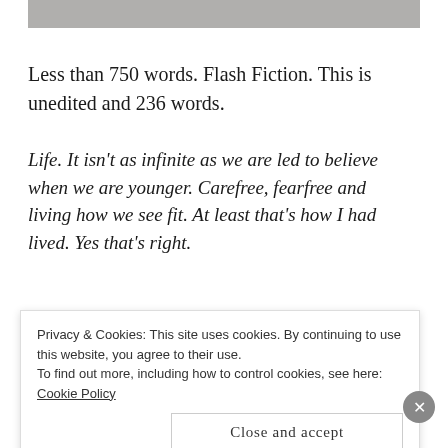[Figure (photo): Partial image at top of page, appears to be a grey/muted photograph cropped at the page edge]
Less than 750 words. Flash Fiction. This is unedited and 236 words.
Life. It isn’t as infinite as we are led to believe when we are younger. Carefree, fearfree and living how we see fit. At least that’s how I had lived. Yes that’s right.
Privacy & Cookies: This site uses cookies. By continuing to use this website, you agree to their use.
To find out more, including how to control cookies, see here: Cookie Policy
Close and accept